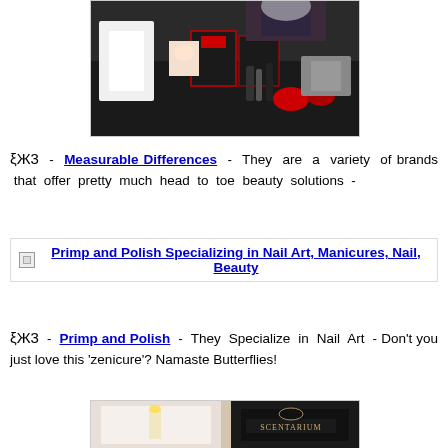[Figure (photo): Photo of a beauty/cosmetics trade show booth with makeup products, boxes, and a person in a patterned top]
ξЖ3 - Measurable Differences - They are a variety of brands that offer pretty much head to toe beauty solutions -
[Figure (photo): Broken image link: Primp and Polish Specializing in Nail Art, Manicures, Nail, Beauty]
ξЖ3 - Primp and Polish - They Specialize in Nail Art - Don't you just love this 'zenicure'? Namaste Butterflies!
[Figure (photo): Partial photo of what appears to be a spa or beauty display with a dark box labeled Scentarium]